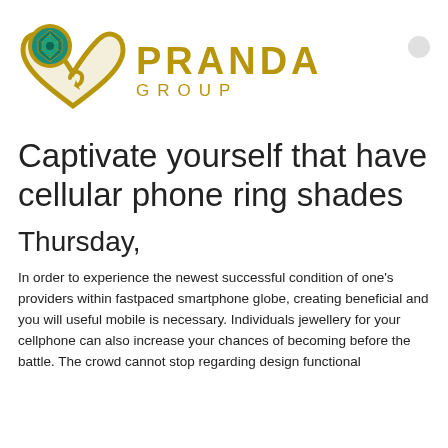[Figure (logo): Pranda Group logo: a gold heart/diamond shaped emblem with a teal gemstone circle, next to the text PRANDA GROUP in gold letters]
Captivate yourself that have cellular phone ring shades
Thursday,
In order to experience the newest successful condition of one’s providers within fastpaced smartphone globe, creating beneficial and you will useful mobile is necessary. Individuals jewellery for your cellphone can also increase your chances of becoming before the battle. The crowd cannot stop regarding design functional